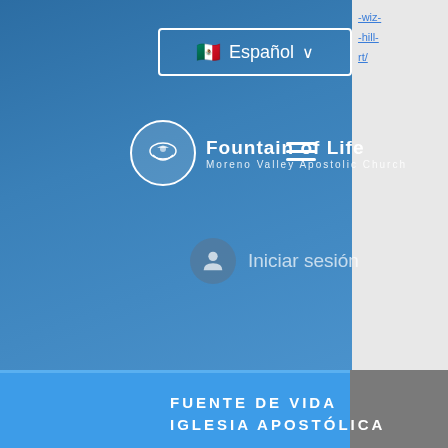[Figure (screenshot): Website header with dark blue background showing language selector (Español with Mexican flag), Fountain of Life Moreno Valley Apostolic Church logo with circular bird emblem, hamburger menu, and login button. Right panel shows partial URL fragments in blue text.]
Español
Fountain of Life
Moreno Valley Apostolic Church
Iniciar sesión
FUENTE DE VIDA
IGLESIA APOSTÓLICA
(951) 660-8038
folmoval@gmail.com
23571 Sunnymead Ranch Pkwy Unidad 101
Moreno Valley, CA 92557
23571 Sunnymead Ranch Pkwy Unit 101
Moreno Valley, CA 92557
© derechos de autor